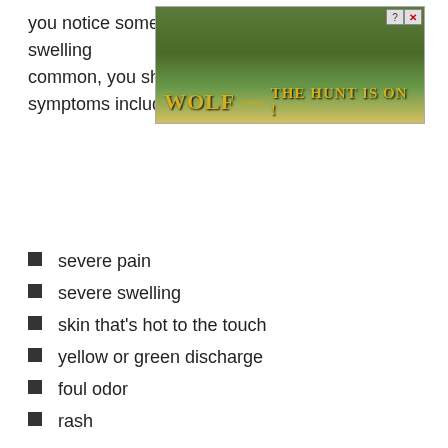you notice some symptoms current for mild swelling common, you should seek some assistance. The symptoms include:
[Figure (screenshot): Advertisement overlay showing a wolf game ad with wolves in a field, title 'WOLF' and tagline 'THE HUNT IS ON!' with close/help buttons]
severe pain
severe swelling
skin that's hot to the touch
yellow or green discharge
foul odor
rash
If your skin has rejected the foreign object, you may experience:
jewelry displacement
a drooping look of the jewelry instead of sitting